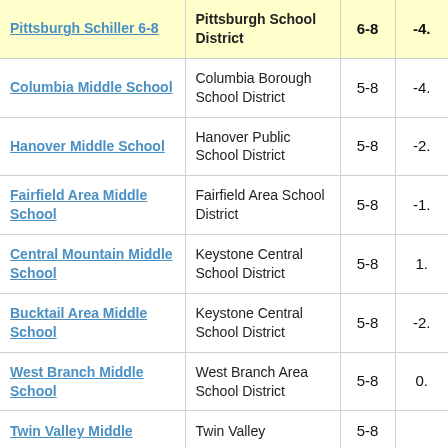| School | District | Grades | Value |
| --- | --- | --- | --- |
| Pittsburgh Schiller 6-8 | Pittsburgh School District | 6-8 | -4. |
| Columbia Middle School | Columbia Borough School District | 5-8 | -4. |
| Hanover Middle School | Hanover Public School District | 5-8 | -2. |
| Fairfield Area Middle School | Fairfield Area School District | 5-8 | -1. |
| Central Mountain Middle School | Keystone Central School District | 5-8 | 1. |
| Bucktail Area Middle School | Keystone Central School District | 5-8 | -2. |
| West Branch Middle School | West Branch Area School District | 5-8 | 0. |
| Twin Valley Middle | Twin Valley | 5-8 |  |